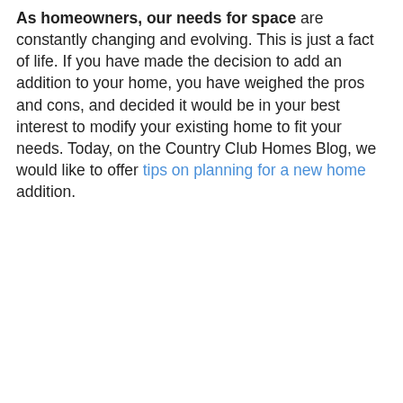As homeowners, our needs for space are constantly changing and evolving. This is just a fact of life. If you have made the decision to add an addition to your home, you have weighed the pros and cons, and decided it would be in your best interest to modify your existing home to fit your needs. Today, on the Country Club Homes Blog, we would like to offer tips on planning for a new home addition.